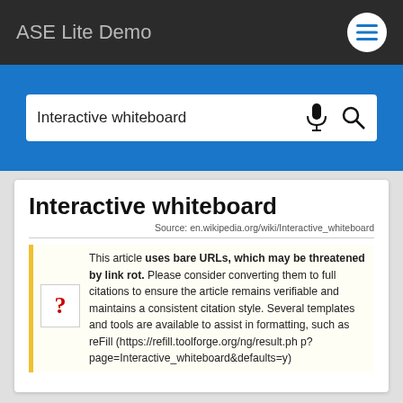ASE Lite Demo
Interactive whiteboard
Interactive whiteboard
Source: en.wikipedia.org/wiki/Interactive_whiteboard
This article uses bare URLs, which may be threatened by link rot. Please consider converting them to full citations to ensure the article remains verifiable and maintains a consistent citation style. Several templates and tools are available to assist in formatting, such as reFill (https://refill.toolforge.org/ng/result.php?page=Interactive_whiteboard&defaults=y)